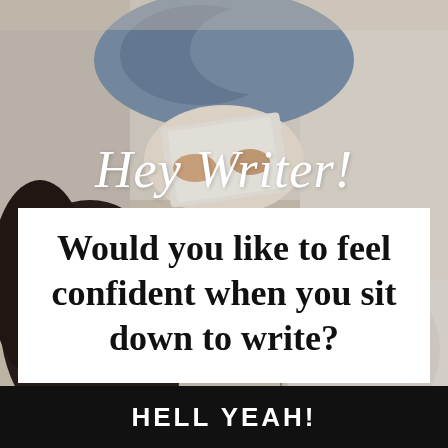[Figure (photo): Woman sitting on a couch holding a notebook/book on her lap, seen from behind and above, with light-colored furniture and casual clothing (jeans, white cardigan). Background is softly lit interior.]
Hey Writer!
Would you like to feel confident when you sit down to write?
HELL YEAH!